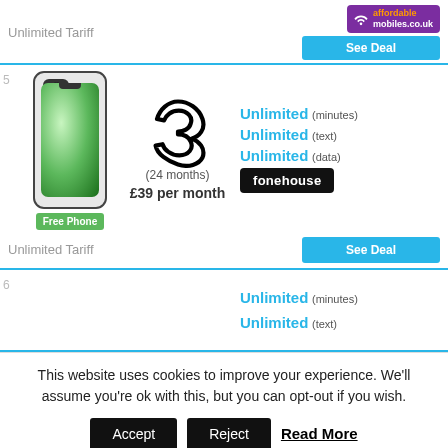Unlimited Tariff
[Figure (logo): affordable mobiles.co.uk logo - purple background with wifi icon, orange and white text]
See Deal
[Figure (photo): iPhone 12 mini in green colour with Free Phone badge]
[Figure (logo): Three network logo - stylized number 3]
(24 months)
£39 per month
Unlimited (minutes)
Unlimited (text)
Unlimited (data)
[Figure (logo): fonehouse retailer badge - black background white text]
Unlimited Tariff
See Deal
Unlimited (minutes)
Unlimited (text)
This website uses cookies to improve your experience. We'll assume you're ok with this, but you can opt-out if you wish.
Accept
Reject
Read More